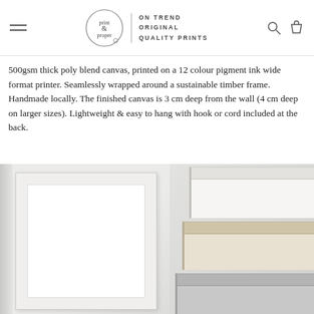print & proper | ON TREND ORIGINAL QUALITY PRINTS
500gsm thick poly blend canvas, printed on a 12 colour pigment ink wide format printer. Seamlessly wrapped around a sustainable timber frame. Handmade locally. The finished canvas is 3 cm deep from the wall (4 cm deep on larger sizes). Lightweight & easy to hang with hook or cord included at the back.
[Figure (photo): Left: white canvas framed print shown face-on against a light textured background. Right: stacked canvas frames showing side/edge profile layers in white, cream/timber, and grey colours.]